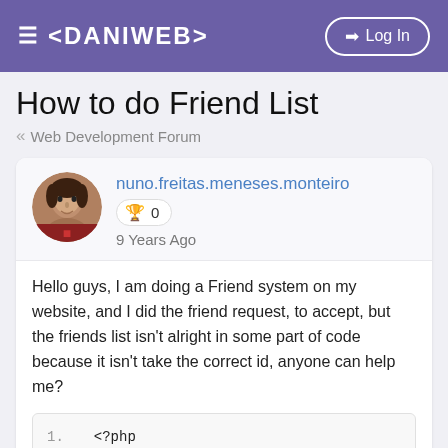≡ <DANIWEB> | → Log In
How to do Friend List
« Web Development Forum
nuno.freitas.meneses.monteiro
🏆 0
9 Years Ago
Hello guys, I am doing a Friend system on my website, and I did the friend request, to accept, but the friends list isn't alright in some part of code because it isn't take the correct id, anyone can help me?
1.	<?php
2.
3.	$users = $_SESSION['username'];
4.